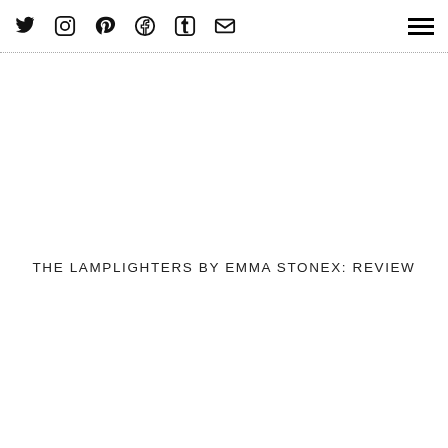Social icons: Twitter, Instagram, Pinterest, Facebook, Tumblr, Mail — and hamburger menu
THE LAMPLIGHTERS BY EMMA STONEX: REVIEW